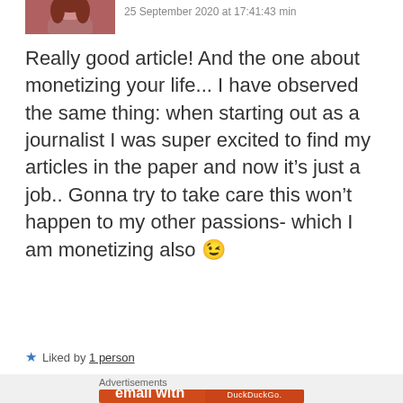[Figure (photo): Small avatar photo of a person with reddish/brown hair, cropped at top of page]
25 September 2020 at 17:41:43 min
Really good article! And the one about monetizing your life... I have observed the same thing: when starting out as a journalist I was super excited to find my articles in the paper and now it's just a job.. Gonna try to take care this won't happen to my other passions- which I am monetizing also 😉
★ Liked by 1 person
Advertisements
[Figure (screenshot): DuckDuckGo advertisement banner on orange/red background. Text reads: Search, browse, and email with more privacy. All in One Free App. Shows a phone with DuckDuckGo logo.]